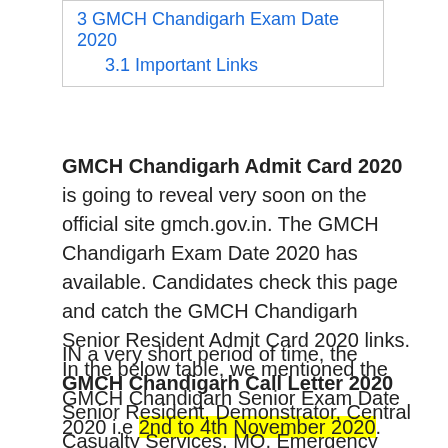3 GMCH Chandigarh Exam Date 2020
3.1 Important Links
GMCH Chandigarh Admit Card 2020 is going to reveal very soon on the official site gmch.gov.in. The GMCH Chandigarh Exam Date 2020 has available. Candidates check this page and catch the GMCH Chandigarh Senior Resident Admit Card 2020 links. In the below table, we mentioned the GMCH Chandigarh Senior Exam Date 2020 i.e 2nd to 4th November 2020.
IN a very short period of time, the GMCH Chandigarh Call Letter 2020 Senior Resident, Demonstrator, Central Casualty Services, MO, Emergency Medical Officer is going to declare through online mode. Candidates wait some more